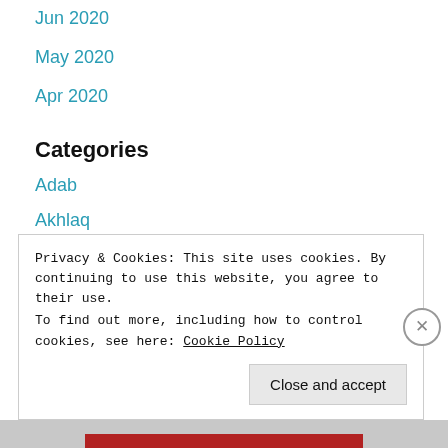Jun 2020
May 2020
Apr 2020
Categories
Adab
Akhlaq
Al-Quran
Breaking fast
Privacy & Cookies: This site uses cookies. By continuing to use this website, you agree to their use.
To find out more, including how to control cookies, see here: Cookie Policy
Close and accept